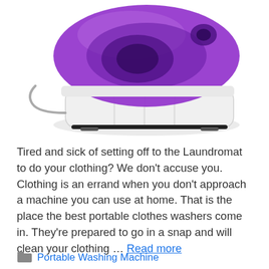[Figure (photo): A portable washing machine with a purple transparent top lid and white body, viewed from a slight angle above.]
Tired and sick of setting off to the Laundromat to do your clothing? We don't accuse you. Clothing is an errand when you don't approach a machine you can use at home. That is the place the best portable clothes washers come in. They're prepared to go in a snap and will clean your clothing … Read more
Portable Washing Machine